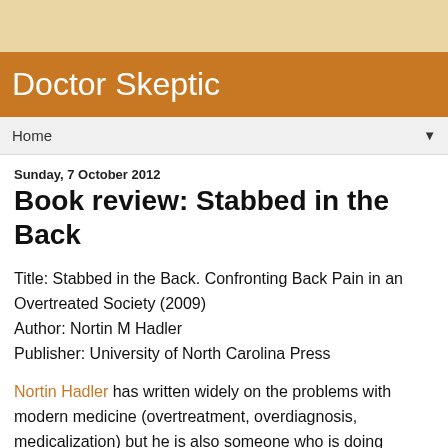Doctor Skeptic
Home
Sunday, 7 October 2012
Book review: Stabbed in the Back
Title: Stabbed in the Back. Confronting Back Pain in an Overtreated Society (2009)
Author: Nortin M Hadler
Publisher: University of North Carolina Press
Nortin Hadler has written widely on the problems with modern medicine (overtreatment, overdiagnosis, medicalization) but he is also someone who is doing something about it, and his ideas on healthcare reform are novel, well informed, feasible and reasonable. For these though, you should read Worried Sick: A Prescription for